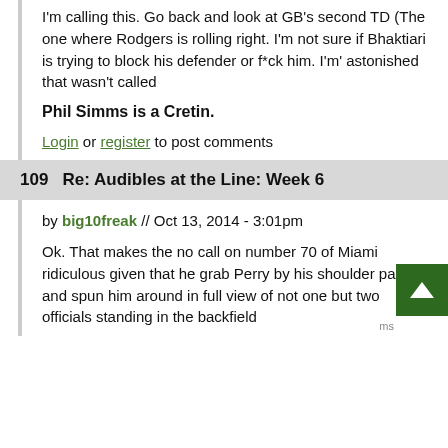I'm calling this. Go back and look at GB's second TD (The one where Rodgers is rolling right. I'm not sure if Bhaktiari is trying to block his defender or f*ck him. I'm' astonished that wasn't called
Phil Simms is a Cretin.
Login or register to post comments
109   Re: Audibles at the Line: Week 6
by big10freak // Oct 13, 2014 - 3:01pm
Ok. That makes the no call on number 70 of Miami ridiculous given that he grab Perry by his shoulder pads and spun him around in full view of not one but two officials standing in the backfield